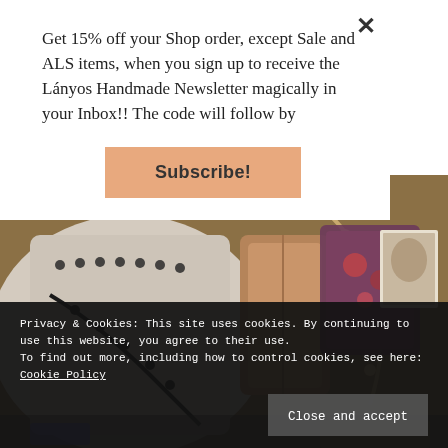Get 15% off your Shop order, except Sale and ALS items, when you sign up to receive the Lányos Handmade Newsletter magically in your Inbox!! The code will follow by
Subscribe!
[Figure (photo): A flat lay photo showing vintage accessories including a cream/beige leather garment with black eyelet detail, black rosary beads, a gold/copper clutch purse, a floral patterned fabric bag with pearl beads, and an old black and white portrait photograph, arranged on a wooden surface.]
Privacy & Cookies: This site uses cookies. By continuing to use this website, you agree to their use. To find out more, including how to control cookies, see here: Cookie Policy
Close and accept